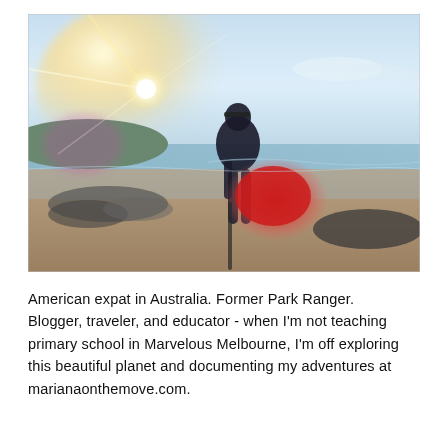[Figure (photo): A person standing on a beach at sunrise or sunset, viewed from behind, carrying a red surfboard or bag. Bright sun flare is visible on the left side. The beach has sand, rocks, and ocean waves visible in the background. The sky is light blue with some clouds.]
American expat in Australia. Former Park Ranger. Blogger, traveler, and educator - when I'm not teaching primary school in Marvelous Melbourne, I'm off exploring this beautiful planet and documenting my adventures at marianaonthemove.com.